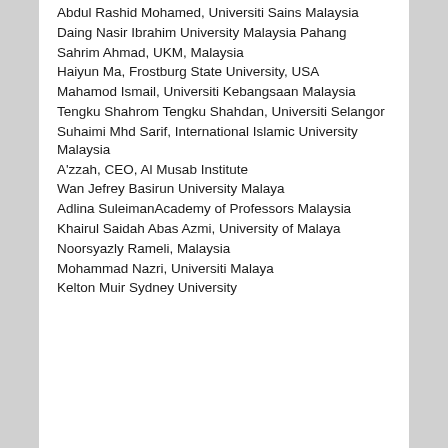Abdul Rashid Mohamed, Universiti Sains Malaysia
Daing Nasir Ibrahim University Malaysia Pahang
Sahrim Ahmad, UKM, Malaysia
Haiyun Ma, Frostburg State University, USA
Mahamod Ismail, Universiti Kebangsaan Malaysia
Tengku Shahrom Tengku Shahdan, Universiti Selangor
Suhaimi Mhd Sarif, International Islamic University Malaysia
A'zzah, CEO, Al Musab Institute
Wan Jefrey Basirun University Malaya
Adlina SuleimanAcademy of Professors Malaysia
Khairul Saidah Abas Azmi, University of Malaya
Noorsyazly Rameli, Malaysia
Mohammad Nazri, Universiti Malaya
Kelton Muir Sydney University